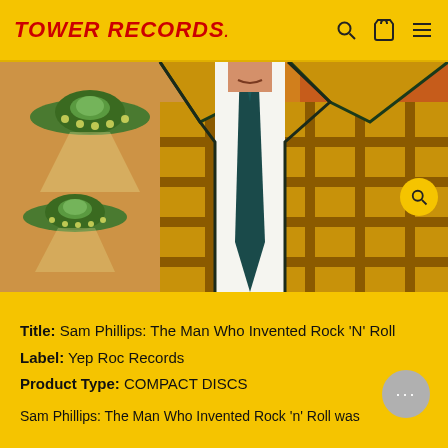TOWER RECORDS.
[Figure (illustration): Illustrated album art showing a headless man in a yellow plaid blazer with a dark tie, flying saucers/UFOs in the background on a retro comic-style colorful backdrop]
Title: Sam Phillips: The Man Who Invented Rock 'N' Roll
Label: Yep Roc Records
Product Type: COMPACT DISCS
Sam Phillips: The Man Who Invented Rock 'n' Roll was